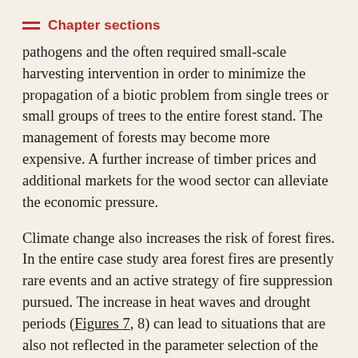Chapter sections
pathogens and the often required small-scale harvesting intervention in order to minimize the propagation of a biotic problem from single trees or small groups of trees to the entire forest stand. The management of forests may become more expensive. A further increase of timber prices and additional markets for the wood sector can alleviate the economic pressure.
Climate change also increases the risk of forest fires. In the entire case study area forest fires are presently rare events and an active strategy of fire suppression pursued. The increase in heat waves and drought periods (Figures 7, 8) can lead to situations that are also not reflected in the parameter selection of the forest growth simulation programme. For practical